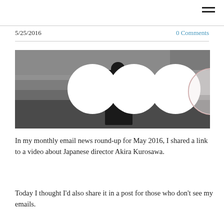5/25/2016
0 Comments
[Figure (photo): Black and white photograph showing a figure in dark robes (possibly a samurai or medieval Japanese setting) standing in a misty, dramatic landscape. Four white overlapping circles are superimposed over the image.]
In my monthly email news round-up for May 2016, I shared a link to a video about Japanese director Akira Kurosawa.
Today I thought I'd also share it in a post for those who don't see my emails.